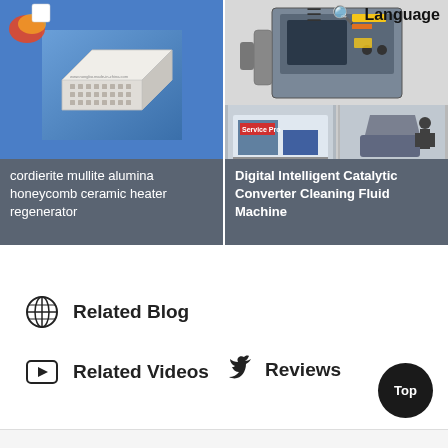[Figure (screenshot): Website screenshot showing two product cards: cordierite mullite alumina honeycomb ceramic heater regenerator (left) and Digital Intelligent Catalytic Converter Cleaning Fluid Machine (right), with logo and nav bar at top]
cordierite mullite alumina honeycomb ceramic heater regenerator
Digital Intelligent Catalytic Converter Cleaning Fluid Machine
Language
Related Blog
Related Videos
Reviews
Top